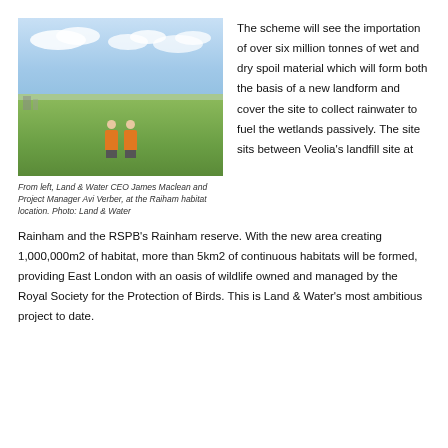[Figure (photo): Two people wearing orange hi-vis vests and white hard hats standing on a green grassy field. Blue sky with white clouds in the background. Industrial structures visible on the horizon.]
From left, Land & Water CEO James Maclean and Project Manager Avi Verber, at the Raiham habitat location. Photo: Land & Water
The scheme will see the importation of over six million tonnes of wet and dry spoil material which will form both the basis of a new landform and cover the site to collect rainwater to fuel the wetlands passively. The site sits between Veolia's landfill site at Rainham and the RSPB's Rainham reserve. With the new area creating 1,000,000m2 of habitat, more than 5km2 of continuous habitats will be formed, providing East London with an oasis of wildlife owned and managed by the Royal Society for the Protection of Birds. This is Land & Water's most ambitious project to date.